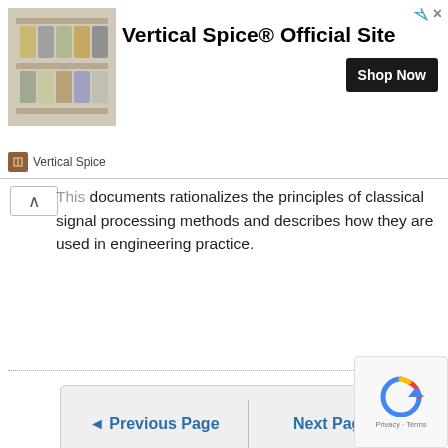[Figure (screenshot): Advertisement banner for Vertical Spice Official Site with spice rack image, bold title, Shop Now button, and brand logo]
This documents rationalizes the principles of classical signal processing methods and describes how they are used in engineering practice.
◄ Previous Page    Next Page ►